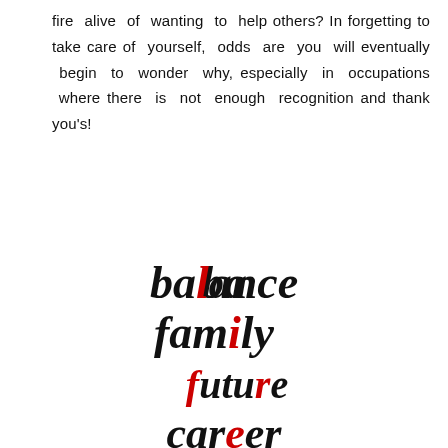fire alive of wanting to help others? In forgetting to take care of yourself, odds are you will eventually begin to wonder why, especially in occupations where there is not enough recognition and thank you's!
[Figure (illustration): Decorative typographic logo with four words stacked: 'balance' (black italic script, red 'l'), 'family' (black italic script, red 'i'), 'future' (red italic script, black 'f'), 'career' (black italic script, red 'e'). Words are centered and stacked vertically.]